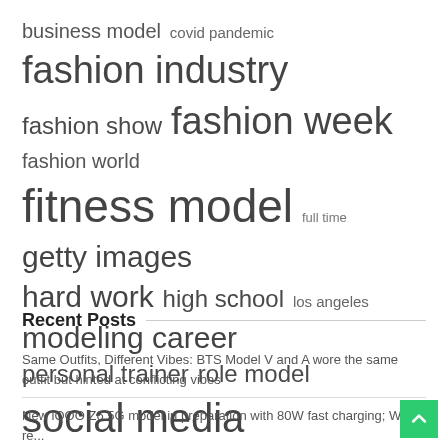[Figure (infographic): Tag cloud with terms of varying sizes related to fashion, fitness, and lifestyle: business model, covid pandemic, fashion industry, fashion show, fashion week, fashion world, fitness model, full time, getty images, hard work, high school, los angeles, modeling career, personal trainer, role model, social media, united states, york city, york fashion]
Recent Posts
Same Outfits, Different Vibes: BTS Model V and A wore the same outfit but hinted at conflicting vibes
New iQOO Z6 5G model in preparation with 80W fast charging; Will it re...